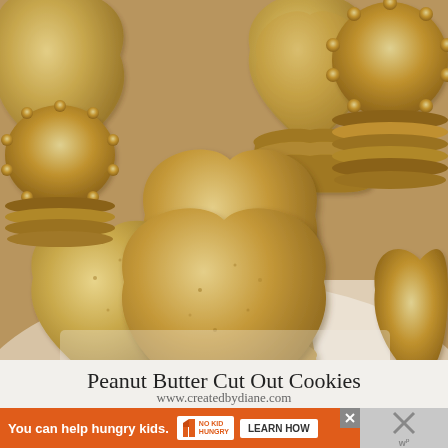[Figure (photo): Close-up photo of heart-shaped and scalloped peanut butter cut-out cookies stacked on a white surface. The cookies are golden-brown in color with a crisp texture.]
Peanut Butter Cut Out Cookies
www.createdbydiane.com
[Figure (infographic): Orange advertisement banner for No Kid Hungry with text 'You can help hungry kids.' and a 'LEARN HOW' button. An X close button is visible on the right side.]